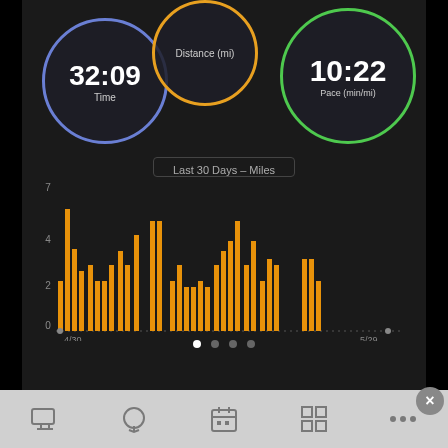[Figure (screenshot): Fitness tracking app screenshot showing circular gauges for Time (32:09), Distance (mi), and Pace (10:22 min/mi), plus a bar chart of Last 30 Days - Miles with orange bars, y-axis 0-7, x-axis from 4/30 to 5/29.]
[Figure (bar-chart): Last 30 Days - Miles]